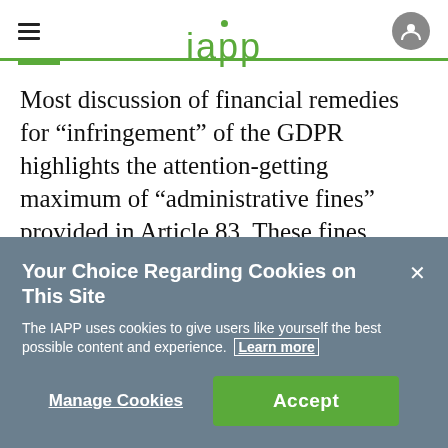iapp
Most discussion of financial remedies for “infringement” of the GDPR highlights the attention-getting maximum of “administrative fines” provided in Article 83. These fines, when levied, are issued by an EU supervisory authority, as established
Your Choice Regarding Cookies on This Site
The IAPP uses cookies to give users like yourself the best possible content and experience. Learn more
Manage Cookies    Accept